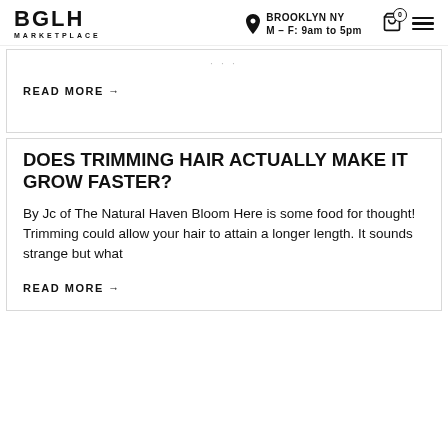BGLH MARKETPLACE | BROOKLYN NY M–F: 9am to 5pm
READ MORE →
DOES TRIMMING HAIR ACTUALLY MAKE IT GROW FASTER?
By Jc of The Natural Haven Bloom Here is some food for thought! Trimming could allow your hair to attain a longer length. It sounds strange but what
READ MORE →